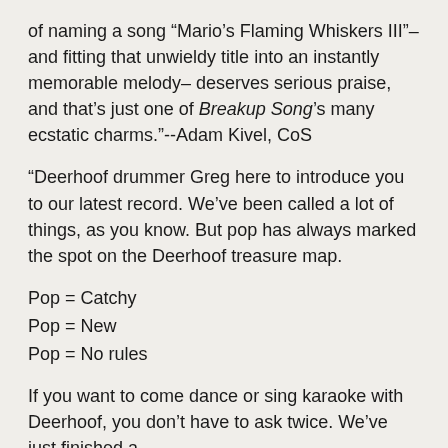of naming a song “Mario’s Flaming Whiskers III”– and fitting that unwieldy title into an instantly memorable melody– deserves serious praise, and that’s just one of Breakup Song’s many ecstatic charms.”--Adam Kivel, CoS
“Deerhoof drummer Greg here to introduce you to our latest record. We’ve been called a lot of things, as you know. But pop has always marked the spot on the Deerhoof treasure map.
Pop = Catchy
Pop = New
Pop = No rules
If you want to come dance or sing karaoke with Deerhoof, you don’t have to ask twice. We’ve just finished a